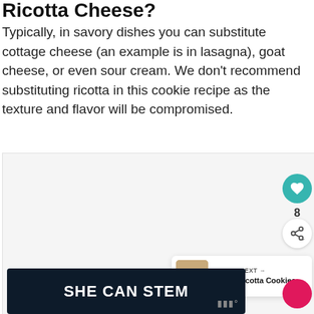Ricotta Cheese?
Typically, in savory dishes you can substitute cottage cheese (an example is in lasagna), goat cheese, or even sour cream. We don't recommend substituting ricotta in this cookie recipe as the texture and flavor will be compromised.
[Figure (other): Large content image area (partially visible, light gray background)]
[Figure (other): Heart/like button (teal circle with heart icon) and count '8', share button below]
[Figure (other): What's Next panel with thumbnail of Italian Ricotta Cookies]
[Figure (other): Advertisement banner with text 'SHE CAN STEM' on dark background with logo]